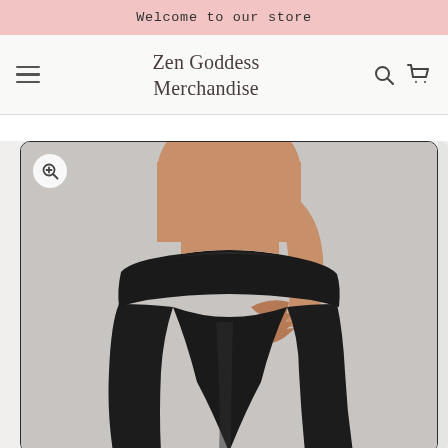Welcome to our store
Zen Goddess Merchandise
[Figure (photo): Model wearing black high-waist leggings, cropped view showing waist and hips area against a grey textured background, with one hand resting on the waistband]